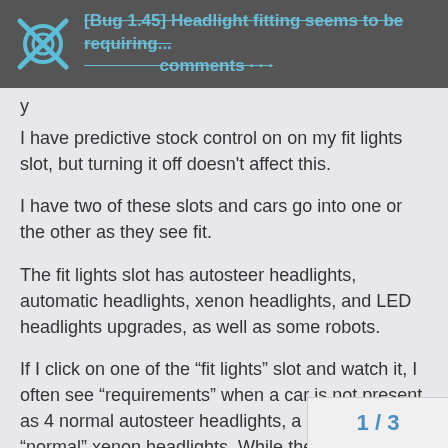[Bug 1.45] Headlight fitting seems to be requiring...
y
I have predictive stock control on on my fit lights slot, but turning it off doesn't affect this.
I have two of these slots and cars go into one or the other as they see fit.
The fit lights slot has autosteer headlights, automatic headlights, xenon headlights, and LED headlights upgrades, as well as some robots.
If I click on one of the "fit lights" slot and watch it, I often see "requirements" when a car is not present as 4 normal autosteer headlights, a sensor, and 4 "normal" xenon headlights. While the car is coming, the inventory system madly tries to meet these requirements.
When a car comes down the belt eventually the requirements change, and those xenon [text cut off] required, but if it takes long enough for a [text cut off]
1 / 3